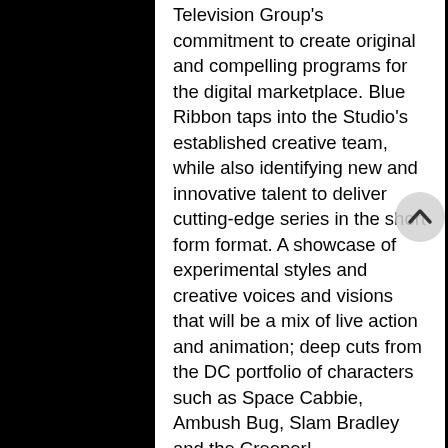Television Group's commitment to create original and compelling programs for the digital marketplace. Blue Ribbon taps into the Studio's established creative team, while also identifying new and innovative talent to deliver cutting-edge series in the short form format. A showcase of experimental styles and creative voices and visions that will be a mix of live action and animation; deep cuts from the DC portfolio of characters such as Space Cabbie, Ambush Bug, Slam Bradley and the Creeper!
New Home Entertainment Releases
More WB Home Entertainment releases will be coming to DC Universe in 2020, particularly because the movies have been so popular with members. The most watched movie on the DC Universe to-date is the animated original Reign of the Supermen, which debuted